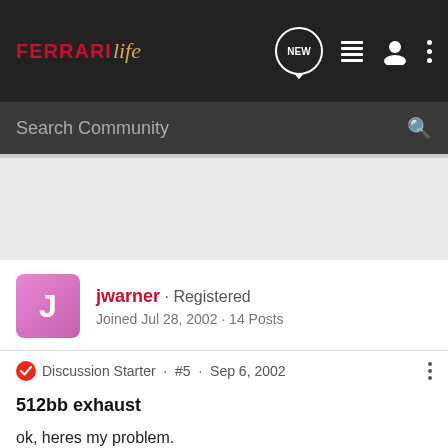Ferrari Life · Search Community
jwarner · Registered · Joined Jul 28, 2002 · 14 Posts
Discussion Starter · #5 · Sep 6, 2002
512bb exhaust
ok, heres my problem.
tubi doesnt make an exhaust for the carbureted boxer--the valence wont clear the pipes---we tried.